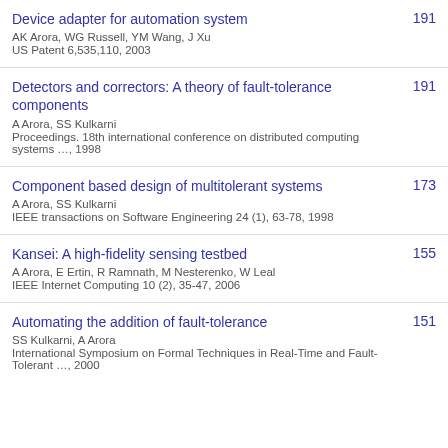Device adapter for automation system
AK Arora, WG Russell, YM Wang, J Xu
US Patent 6,535,110, 2003
191
Detectors and correctors: A theory of fault-tolerance components
A Arora, SS Kulkarni
Proceedings. 18th international conference on distributed computing systems …, 1998
191
Component based design of multitolerant systems
A Arora, SS Kulkarni
IEEE transactions on Software Engineering 24 (1), 63-78, 1998
173
Kansei: A high-fidelity sensing testbed
A Arora, E Ertin, R Ramnath, M Nesterenko, W Leal
IEEE Internet Computing 10 (2), 35-47, 2006
155
Automating the addition of fault-tolerance
SS Kulkarni, A Arora
International Symposium on Formal Techniques in Real-Time and Fault-Tolerant …, 2000
151